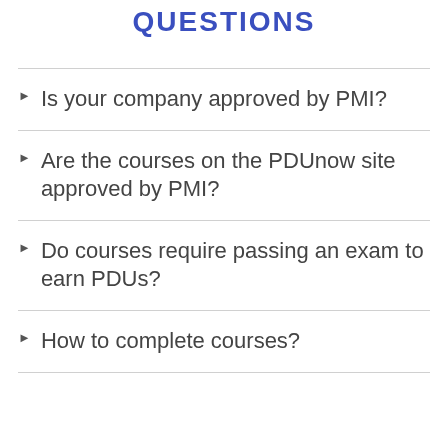QUESTIONS
Is your company approved by PMI?
Are the courses on the PDUnow site approved by PMI?
Do courses require passing an exam to earn PDUs?
How to complete courses?